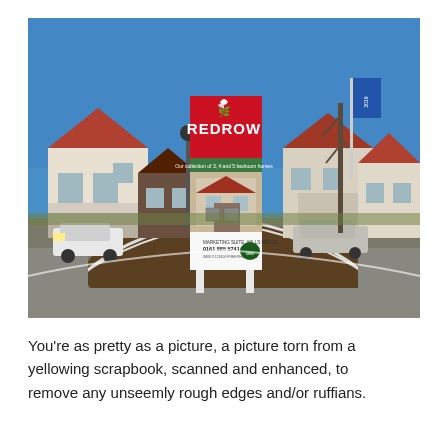[Figure (photo): Outdoor photograph of a Redrow housing development site. In the centre foreground stands a tall white signboard with a red top panel displaying the Redrow logo and name, with a green sub-panel showing collection details and contact number 0161 885 5741, and a black lower panel with a logo. Behind the sign are several detached houses with red-brick and white render facades. A blue promotional flag on a pole is visible to the right. The sky is bright blue. The foreground shows a landscaped roundabout with a curved kerb and dark soil.]
You're as pretty as a picture, a picture torn from a yellowing scrapbook, scanned and enhanced, to remove any unseemly rough edges and/or ruffians.